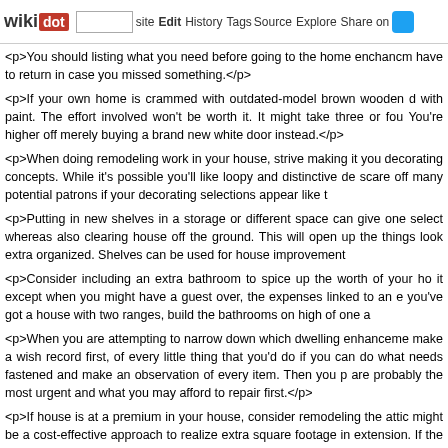wikidot | site | Edit | History | Tags | Source | Explore | Share on Twitter
<p>You should listing what you need before going to the home enchancm have to return in case you missed something.</p>
<p>If your own home is crammed with outdated-model brown wooden d with paint. The effort involved won't be worth it. It might take three or fou You're higher off merely buying a brand new white door instead.</p>
<p>When doing remodeling work in your house, strive making it you decorating concepts. While it's possible you'll like loopy and distinctive de scare off many potential patrons if your decorating selections appear like t
<p>Putting in new shelves in a storage or different space can give one select whereas also clearing house off the ground. This will open up the things look extra organized. Shelves can be used for house improvement
<p>Consider including an extra bathroom to spice up the worth of your ho it except when you might have a guest over, the expenses linked to an e you've got a house with two ranges, build the bathrooms on high of one a
<p>When you are attempting to narrow down which dwelling enhanceme make a wish record first, of every little thing that you'd do if you can do what needs fastened and make an observation of every item. Then you p are probably the most urgent and what you may afford to repair first.</p>
<p>If house is at a premium in your house, consider remodeling the attic might be a cost-effective approach to realize extra square footage in extension. If the area is already partially finished, your undertaking will pr new area very quickly.</p>